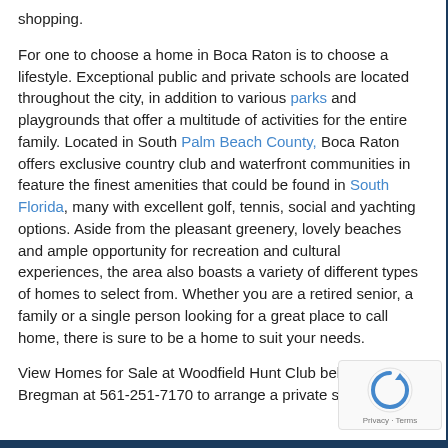shopping.
For one to choose a home in Boca Raton is to choose a lifestyle. Exceptional public and private schools are located throughout the city, in addition to various parks and playgrounds that offer a multitude of activities for the entire family. Located in South Palm Beach County, Boca Raton offers exclusive country club and waterfront communities in feature the finest amenities that could be found in South Florida, many with excellent golf, tennis, social and yachting options. Aside from the pleasant greenery, lovely beaches and ample opportunity for recreation and cultural experiences, the area also boasts a variety of different types of homes to select from. Whether you are a retired senior, a family or a single person looking for a great place to call home, there is sure to be a home to suit your needs.
View Homes for Sale at Woodfield Hunt Club below. Call Kim Bregman at 561-251-7170 to arrange a private showing.